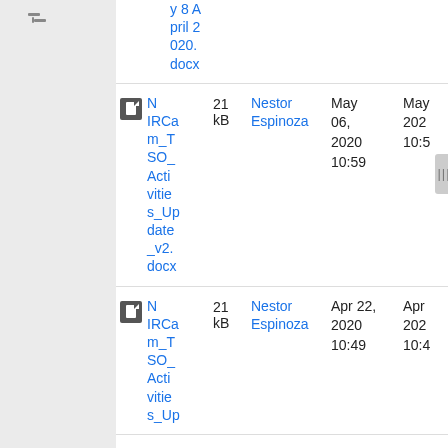| Name | Size | Owner | Date Modified | Date Created |
| --- | --- | --- | --- | --- |
| y 8 April 2020.docx |  |  |  |  |
| NIRCam_TSO_Activities_Update_v2.docx | 21 kB | Nestor Espinoza | May 06, 2020 10:59 | May 202 10:5 |
| NIRCam_TSO_Activities_Up... | 21 kB | Nestor Espinoza | Apr 22, 2020 10:49 | Apr 202 10:4 |